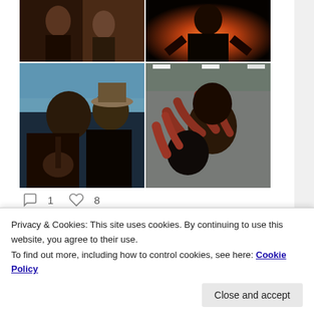[Figure (photo): 2x2 grid of photos: top-left shows people at a concert/event in dark clothing, top-right shows a person with arms raised against bright background, bottom-left shows two men performing music (one singing with microphone, one with guitar and hat), bottom-right shows people with hands raised/reaching in a dark indoor setting]
1  8
steve newton
Privacy & Cookies: This site uses cookies. By continuing to use this website, you agree to their use.
To find out more, including how to control cookies, see here: Cookie Policy
Close and accept